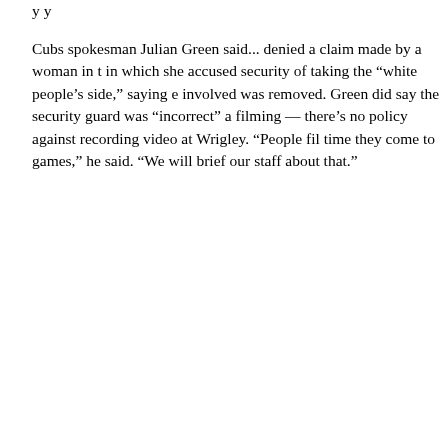y y
Cubs spokesman Julian Green said... denied a claim made by a woman in t in which she accused security of taking the “white people’s side,” saying e involved was removed. Green did say the security guard was “incorrect” a filming — there’s no policy against recording video at Wrigley. “People fil time they come to games,” he said. “We will brief our staff about that.”